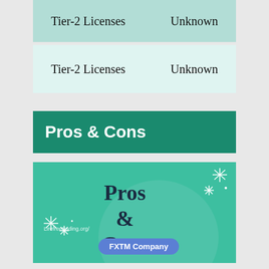|  |  |
| --- | --- |
| Tier-2 Licenses | Unknown |
| Tier-2 Licenses | Unknown |
Pros & Cons
[Figure (infographic): Teal background image with 'Pros & Cons' text centered on a semi-transparent circle, sparkle decorations, watermark 'Lirefreetrading.org/' at bottom left, and 'FXTM Company' badge at bottom center.]